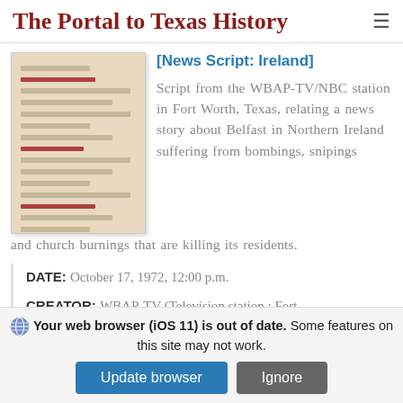The Portal to Texas History
[Figure (photo): Thumbnail image of a handwritten or typed document on aged paper with red annotations]
[News Script: Ireland]
Script from the WBAP-TV/NBC station in Fort Worth, Texas, relating a news story about Belfast in Northern Ireland suffering from bombings, snipings and church burnings that are killing its residents.
DATE: October 17, 1972, 12:00 p.m.
CREATOR: WBAP-TV (Television station : Fort
Your web browser (iOS 11) is out of date. Some features on this site may not work.